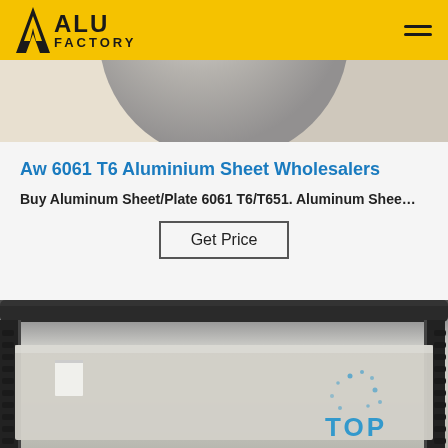ALU FACTORY
[Figure (photo): Close-up photo of a round aluminum disc/ingot from above, light gray metallic surface]
Aw 6061 T6 Aluminium Sheet Wholesalers
Buy Aluminum Sheet/Plate 6061 T6/T651. Aluminum Shee…
Get Price
[Figure (photo): Photo of aluminum sheets stacked on a rack in a warehouse, with industrial roller visible at the top; blue dotted TOP badge overlay in lower right]